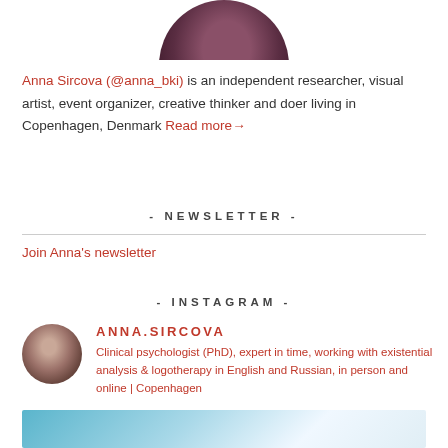[Figure (photo): Circular profile photo of Anna Sircova, partially cropped at top, showing upper portion of circular portrait against dark purple/mauve clothing background]
Anna Sircova (@anna_bki) is an independent researcher, visual artist, event organizer, creative thinker and doer living in Copenhagen, Denmark Read more→
- NEWSLETTER -
Join Anna's newsletter
- INSTAGRAM -
[Figure (photo): Circular Instagram profile avatar of Anna Sircova]
ANNA.SIRCOVA
Clinical psychologist (PhD), expert in time, working with existential analysis & logotherapy in English and Russian, in person and online | Copenhagen
[Figure (photo): Partial bottom image, appears to be a light blue/teal colored photo, cropped at bottom of page]